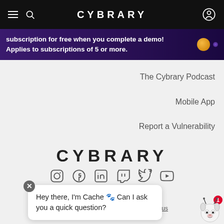CYBRARY
subscription for free when you complete a demo! Applies to subscriptions of 5 or more.
The Cybrary Podcast
Mobile App
Report a Vulnerability
[Figure (logo): CYBRARY logo in large black bold letters]
[Figure (infographic): Social media icons row: Instagram, Facebook, LinkedIn, Twitch, Twitter, YouTube]
© 2022 Cybrary
Terms of Service
Privacy Policy
Server Status
Hey there, I'm Cache 🐾 Can I ask you a quick question?